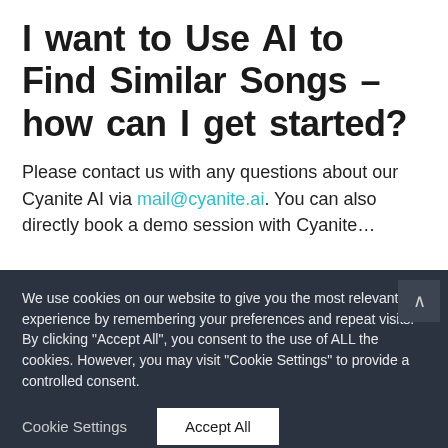I want to Use AI to Find Similar Songs – how can I get started?
Please contact us with any questions about our Cyanite AI via mail@cyanite.ai. You can also directly book a demo session with Cyanite…
We use cookies on our website to give you the most relevant experience by remembering your preferences and repeat visits. By clicking "Accept All", you consent to the use of ALL the cookies. However, you may visit "Cookie Settings" to provide a controlled consent.
Cookie Settings   Accept All